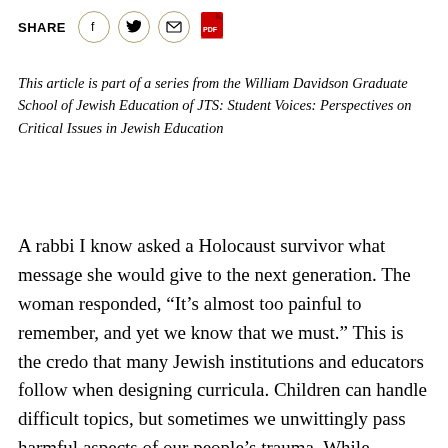SHARE
This article is part of a series from the William Davidson Graduate School of Jewish Education of JTS: Student Voices: Perspectives on Critical Issues in Jewish Education
A rabbi I know asked a Holocaust survivor what message she would give to the next generation. The woman responded, “It’s almost too painful to remember, and yet we know that we must.” This is the credo that many Jewish institutions and educators follow when designing curricula. Children can handle difficult topics, but sometimes we unwittingly pass harmful aspects of our people’s trauma. While sadness and anger are normal, sometimes children and teenagers experience persistent mental health symptoms. By exercising